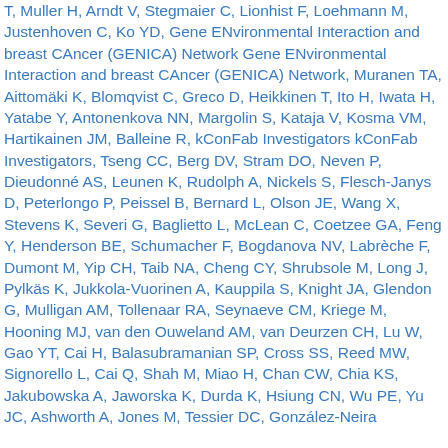T, Muller H, Arndt V, Stegmaier C, Lionhist F, Loehmann M, Justenhoven C, Ko YD, Gene ENvironmental Interaction and breast CAncer (GENICA) Network Gene ENvironmental Interaction and breast CAncer (GENICA) Network, Muranen TA, Aittomäki K, Blomqvist C, Greco D, Heikkinen T, Ito H, Iwata H, Yatabe Y, Antonenkova NN, Margolin S, Kataja V, Kosma VM, Hartikainen JM, Balleine R, kConFab Investigators kConFab Investigators, Tseng CC, Berg DV, Stram DO, Neven P, Dieudonné AS, Leunen K, Rudolph A, Nickels S, Flesch-Janys D, Peterlongo P, Peissel B, Bernard L, Olson JE, Wang X, Stevens K, Severi G, Baglietto L, McLean C, Coetzee GA, Feng Y, Henderson BE, Schumacher F, Bogdanova NV, Labrèche F, Dumont M, Yip CH, Taib NA, Cheng CY, Shrubsole M, Long J, Pylkäs K, Jukkola-Vuorinen A, Kauppila S, Knight JA, Glendon G, Mulligan AM, Tollenaar RA, Seynaeve CM, Kriege M, Hooning MJ, van den Ouweland AM, van Deurzen CH, Lu W, Gao YT, Cai H, Balasubramanian SP, Cross SS, Reed MW, Signorello L, Cai Q, Shah M, Miao H, Chan CW, Chia KS, Jakubowska A, Jaworska K, Durda K, Hsiung CN, Wu PE, Yu JC, Ashworth A, Jones M, Tessier DC, González-Neira